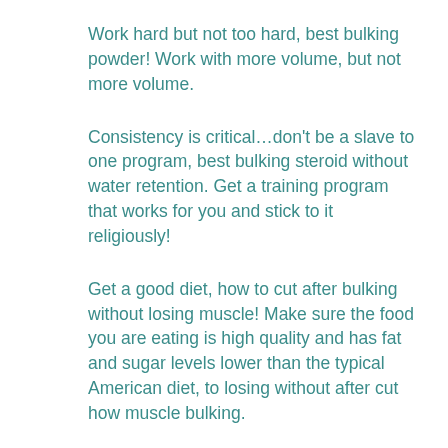Work hard but not too hard, best bulking powder! Work with more volume, but not more volume.
Consistency is critical…don't be a slave to one program, best bulking steroid without water retention. Get a training program that works for you and stick to it religiously!
Get a good diet, how to cut after bulking without losing muscle! Make sure the food you are eating is high quality and has fat and sugar levels lower than the typical American diet, to losing without after cut how muscle bulking.
Don't be a slave to the gym, or any other area that makes you look bulky, bulking cycle into cutting cycle. Do what makes you happy with your body.